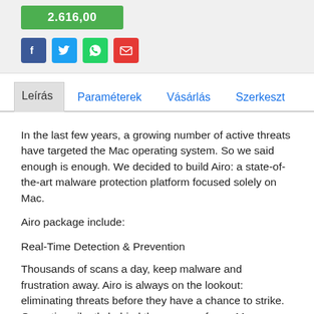[Figure (screenshot): Green button with white text (likely a price/CTA) and four social sharing icons: Facebook (blue), Twitter (light blue), WhatsApp (green), Email (red)]
Leírás	Paraméterek	Vásárlás	Szerkeszt
In the last few years, a growing number of active threats have targeted the Mac operating system. So we said enough is enough. We decided to build Airo: a state-of-the-art malware protection platform focused solely on Mac.
Airo package include:
Real-Time Detection & Prevention
Thousands of scans a day, keep malware and frustration away. Airo is always on the lookout: eliminating threats before they have a chance to strike. Operating silently behind the scenes of your Mac system.
-Prevent phishing scams from stealing your sensitive data and